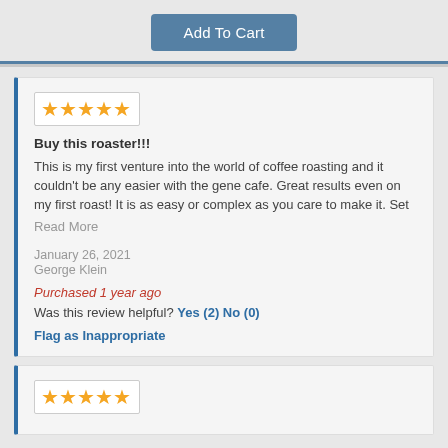[Figure (other): Add To Cart button - blue rounded rectangle button]
★★★★★
Buy this roaster!!!
This is my first venture into the world of coffee roasting and it couldn't be any easier with the gene cafe. Great results even on my first roast! It is as easy or complex as you care to make it. Set
Read More
January 26, 2021
George Klein
Purchased 1 year ago
Was this review helpful? Yes (2) No (0)
Flag as Inappropriate
★★★★★